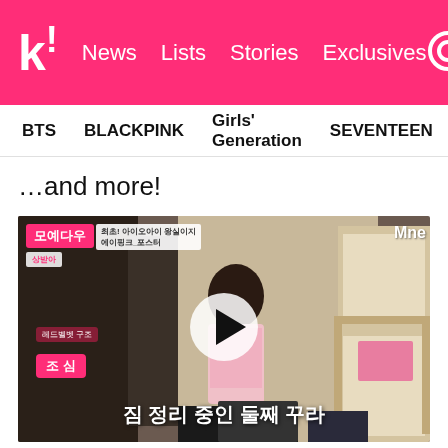k! News Lists Stories Exclusives
BTS   BLACKPINK   Girls' Generation   SEVENTEEN   TWICE
…and more!
[Figure (screenshot): Video thumbnail from Korean TV show (Mnet), showing a person in a room with bunk beds. Korean text overlays including a pink badge reading '조심' and subtitle text '짐 정리 중인 둘째 꾸라'. Play button overlay in center.]